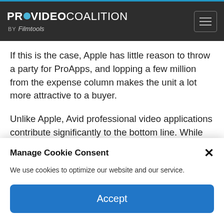PROVIDEO COALITION BY Filmtools
If this is the case, Apple has little reason to throw a party for ProApps, and lopping a few million from the expense column makes the unit a lot more attractive to a buyer.
Unlike Apple, Avid professional video applications contribute significantly to the bottom line. While NAB is expensive, banner ads
Manage Cookie Consent
We use cookies to optimize our website and our service.
Accept